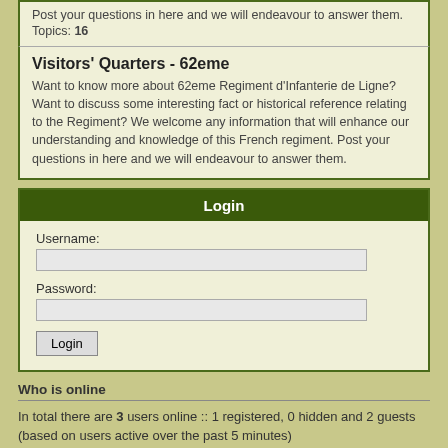Post your questions in here and we will endeavour to answer them.
Topics: 16
Visitors' Quarters - 62eme
Want to know more about 62eme Regiment d'Infanterie de Ligne? Want to discuss some interesting fact or historical reference relating to the Regiment? We welcome any information that will enhance our understanding and knowledge of this French regiment. Post your questions in here and we will endeavour to answer them.
Login
Username:
Password:
Who is online
In total there are 3 users online :: 1 registered, 0 hidden and 2 guests (based on users active over the past 5 minutes)
Most users ever online was 333 on Mon Jul 04, 2022 9:23 pm
Statistics